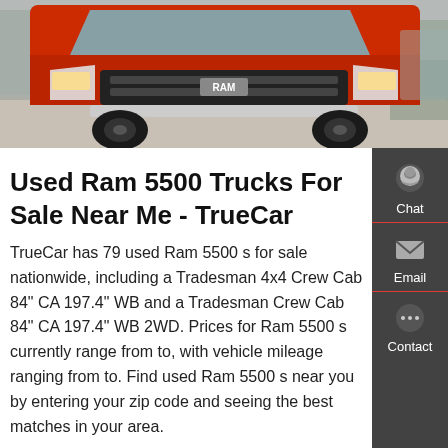[Figure (photo): Red heavy-duty truck (Ram 5500 style) viewed from front-low angle, showing large tires, chrome bumper, and cab front. Industrial/parking lot background.]
Used Ram 5500 Trucks For Sale Near Me - TrueCar
TrueCar has 79 used Ram 5500 s for sale nationwide, including a Tradesman 4x4 Crew Cab 84" CA 197.4" WB and a Tradesman Crew Cab 84" CA 197.4" WB 2WD. Prices for Ram 5500 s currently range from to, with vehicle mileage ranging from to. Find used Ram 5500 s near you by entering your zip code and seeing the best matches in your area.
GET A QUOTE